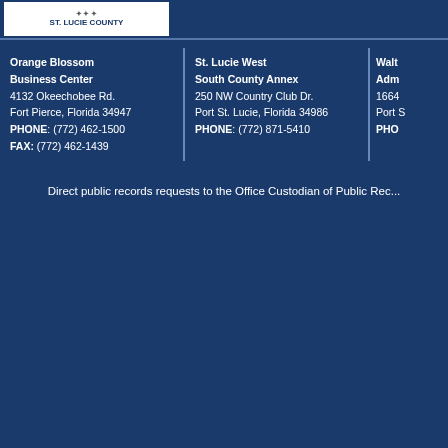ST. LUCIE COUNTY
Orange Blossom Business Center
4132 Okeechobee Rd.
Fort Pierce, Florida 34947
PHONE: (772) 462-1500
FAX: (772) 462-1439
St. Lucie West South County Annex
250 NW Country Club Dr.
Port St. Lucie, Florida 34986
PHONE: (772) 871-5410
Walt Adm
1664
Port S
PHO
Direct public records requests to the Office Custodian of Public Rec...